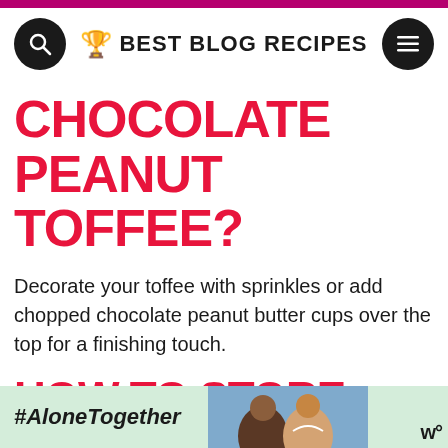BEST BLOG RECIPES
CHOCOLATE PEANUT TOFFEE?
Decorate your toffee with sprinkles or add chopped chocolate peanut butter cups over the top for a finishing touch.
HOW TO STORE CHOCOLATE PEANUT TOFFEE
[Figure (screenshot): Ad banner with #AloneTogether hashtag and a photo of people]
[Figure (photo): Ritz Cracker Toffee thumbnail for WHAT'S NEXT widget]